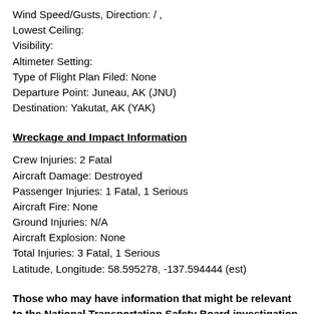Wind Speed/Gusts, Direction: / ,
Lowest Ceiling:
Visibility:
Altimeter Setting:
Type of Flight Plan Filed: None
Departure Point: Juneau, AK (JNU)
Destination: Yakutat, AK (YAK)
Wreckage and Impact Information
Crew Injuries: 2 Fatal
Aircraft Damage: Destroyed
Passenger Injuries: 1 Fatal, 1 Serious
Aircraft Fire: None
Ground Injuries: N/A
Aircraft Explosion: None
Total Injuries: 3 Fatal, 1 Serious
Latitude, Longitude: 58.595278, -137.594444 (est)
Those who may have information that might be relevant to the National Transportation Safety Board investigation may contact them by email